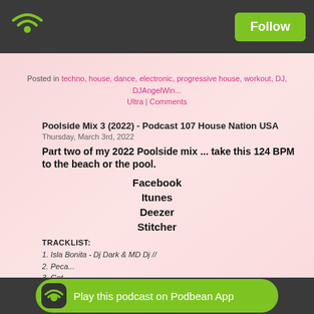Podbean – Follow
Posted in techno, house, dance, electronic, progressive house, workout, DJ, DJAngelWing Ultra | Comments
Poolside Mix 3 (2022) - Podcast 107 House Nation USA
Thursday, March 3rd, 2022
Part two of my 2022 Poolside mix ... take this 124 BPM to the beach or the pool.
Facebook
Itunes
Deezer
Stitcher
TRACKLIST:
1. Isla Bonita - Dj Dark & MD Dj //
2. Peca...
3. Got ...
4. Midnig...
5. Stay Inside - IT Donaldson //
Play this podcast on Podbean App